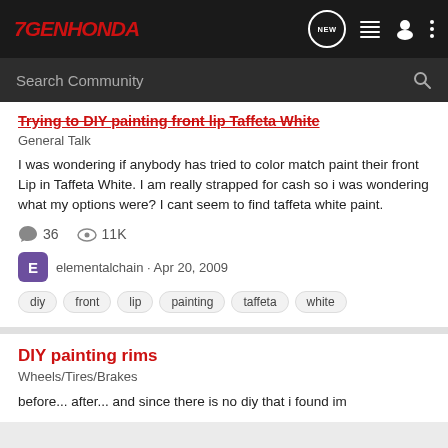7GENHONDA
Search Community
Trying to DIY painting front lip Taffeta White
General Talk
I was wondering if anybody has tried to color match paint their front Lip in Taffeta White. I am really strapped for cash so i was wondering what my options were? I cant seem to find taffeta white paint.
36  11K
elementalchain · Apr 20, 2009
diy  front  lip  painting  taffeta  white
DIY painting rims
Wheels/Tires/Brakes
before... after... and since there is no diy that i found im